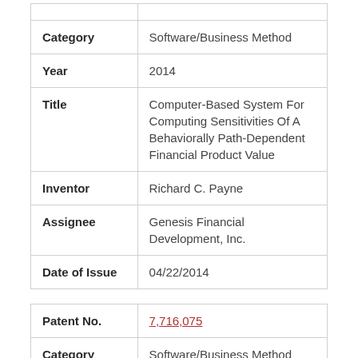| Category | Software/Business Method |
| Year | 2014 |
| Title | Computer-Based System For Computing Sensitivities Of A Behaviorally Path-Dependent Financial Product Value |
| Inventor | Richard C. Payne |
| Assignee | Genesis Financial Development, Inc. |
| Date of Issue | 04/22/2014 |
| Patent No. | 7,716,075 |
| Category | Software/Business Method |